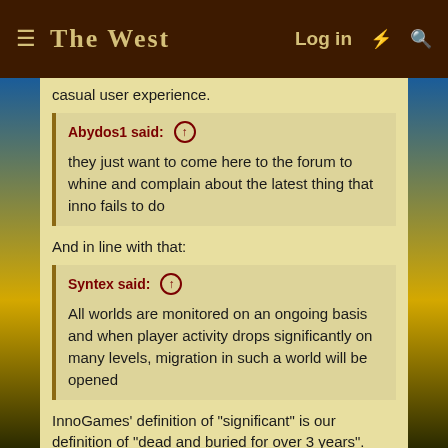THE WEST — Log in
casual user experience.
Abydos1 said: ↑

they just want to come here to the forum to whine and complain about the latest thing that inno fails to do
And in line with that:
Syntex said: ↑

All worlds are monitored on an ongoing basis and when player activity drops significantly on many levels, migration in such a world will be opened
InnoGames' definition of "significant" is our definition of "dead and buried for over 3 years".
As long as 1 njub is buying the character premiums, screw everyone else, eh.
Can someone please explain to me how the Fort Fighters and duellers migrating out of a world that they DO NOT PLAY